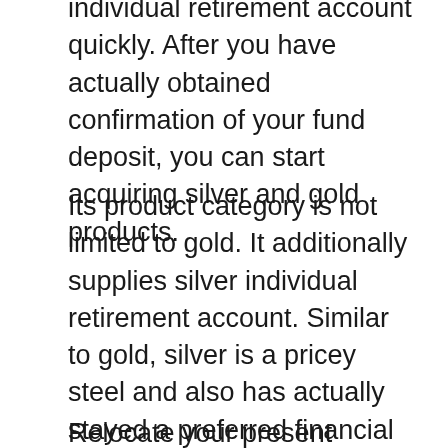individual retirement account quickly. After you have actually obtained confirmation of your fund deposit, you can start acquiring silver and gold products.
Its product category is not limited to gold. It additionally supplies silver individual retirement account. Similar to gold, silver is a pricey steel and also has actually stayed a preferred financial investment alternative at all times. The demand for it continues to be solid comparable to what is seen with gold. Make both steels a part of your investment profile by buying Goldco’s precious metal individual retirement account.
Relocate your present individual retirement account to the Goldco individual retirement account.